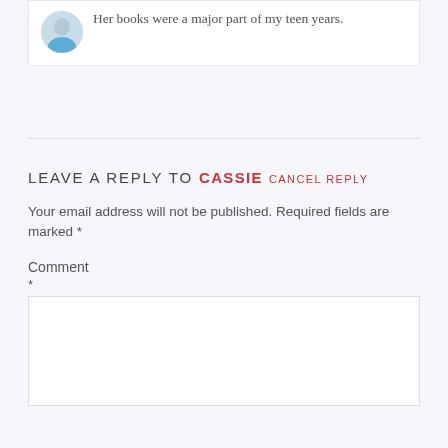Her books were a major part of my teen years.
LEAVE A REPLY TO CASSIE CANCEL REPLY
Your email address will not be published. Required fields are marked *
Comment
*